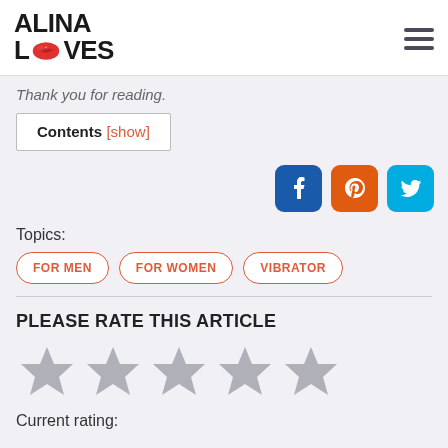ALINA LOVES
Thank you for reading.
Contents [show]
[Figure (other): Social share buttons: Facebook (blue), Pinterest (orange), Twitter (cyan)]
Topics:
FOR MEN
FOR WOMEN
VIBRATOR
PLEASE RATE THIS ARTICLE
[Figure (other): Five empty/grey star rating icons]
Current rating: